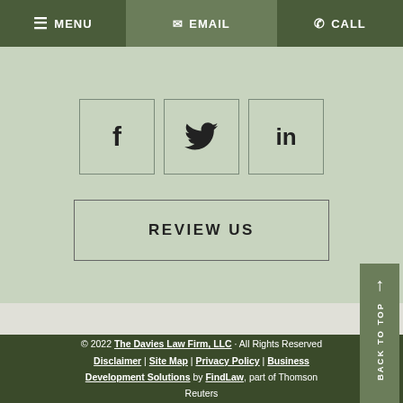MENU | EMAIL | CALL
[Figure (other): Social media share buttons: Facebook (f), Twitter (bird icon), LinkedIn (in)]
REVIEW US
© 2022 The Davies Law Firm, LLC · All Rights Reserved | Disclaimer | Site Map | Privacy Policy | Business Development Solutions by FindLaw, part of Thomson Reuters